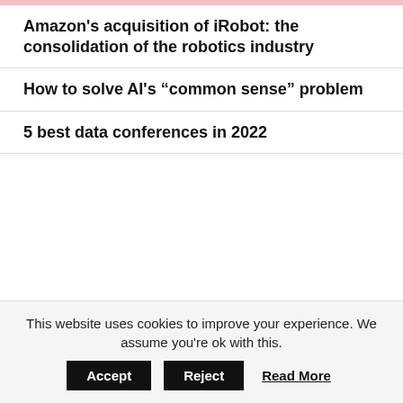Amazon's acquisition of iRobot: the consolidation of the robotics industry
How to solve AI's “common sense” problem
5 best data conferences in 2022
Follow Us
[Figure (illustration): Twitter and Facebook social media icons in black]
This website uses cookies to improve your experience. We assume you're ok with this. [Accept] [Reject] Read More